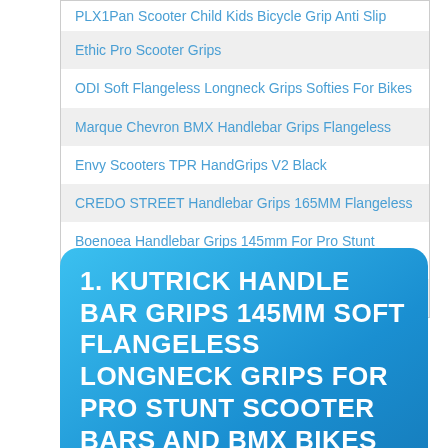PLX1Pan Scooter Child Kids Bicycle Grip Anti Slip
Ethic Pro Scooter Grips
ODI Soft Flangeless Longneck Grips Softies For Bikes
Marque Chevron BMX Handlebar Grips Flangeless
Envy Scooters TPR HandGrips V2 Black
CREDO STREET Handlebar Grips 165MM Flangeless
Boenoea Handlebar Grips 145mm For Pro Stunt Scooter
Z-FIRST Scooter Grips Softies For Bikes And Scooters
1. KUTRICK HANDLE BAR GRIPS 145MM SOFT FLANGELESS LONGNECK GRIPS FOR PRO STUNT SCOOTER BARS AND BMX BIKES BARS